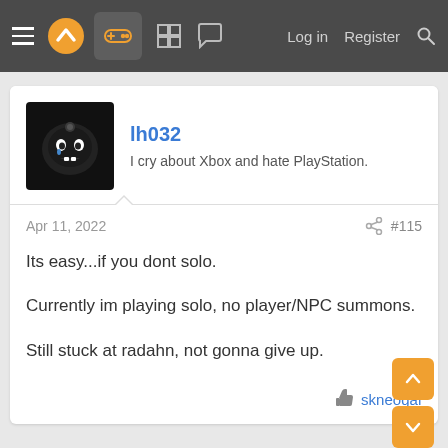NeoGAF navigation bar with hamburger menu, logo, gamepad icon (active), grid icon, chat icon, Log in, Register, Search
lh032
I cry about Xbox and hate PlayStation.
Apr 11, 2022  #115
Its easy...if you dont solo.
Currently im playing solo, no player/NPC summons.
Still stuck at radahn, not gonna give up.
skneogaf